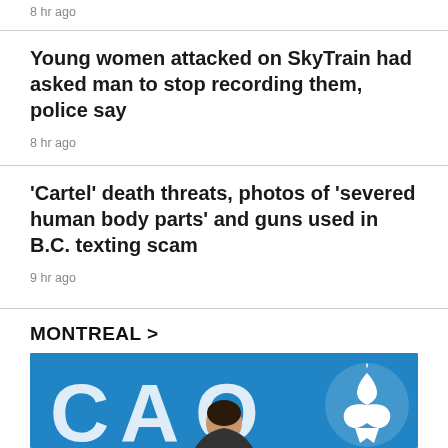8 hr ago
Young women attacked on SkyTrain had asked man to stop recording them, police say
8 hr ago
'Cartel' death threats, photos of 'severed human body parts' and guns used in B.C. texting scam
9 hr ago
MONTREAL >
[Figure (photo): Blue and white CAQ (Coalition Avenir Québec) logo backdrop with a person visible at the bottom center of the image]